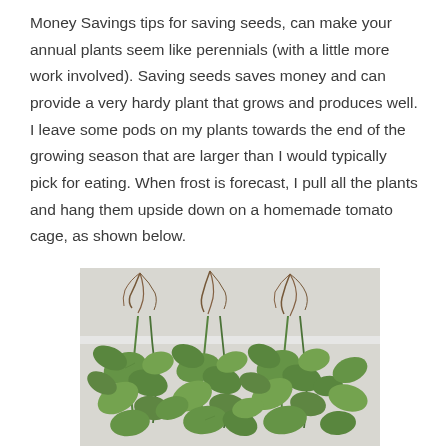Money Savings tips for saving seeds, can make your annual plants seem like perennials (with a little more work involved). Saving seeds saves money and can provide a very hardy plant that grows and produces well. I leave some pods on my plants towards the end of the growing season that are larger than I would typically pick for eating. When frost is forecast, I pull all the plants and hang them upside down on a homemade tomato cage, as shown below.
[Figure (photo): Photograph of plants hanging upside down on a homemade tomato cage structure, with green leafy plants and exposed roots visible at the top.]